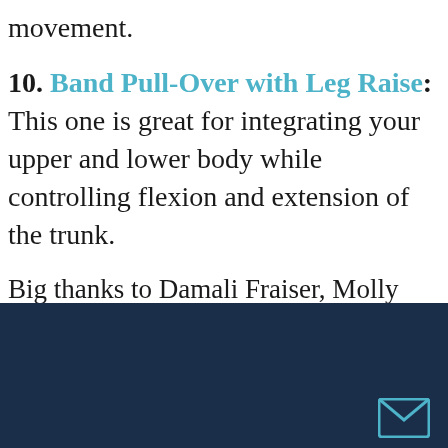movement.
10. Band Pull-Over with Leg Raise: This one is great for integrating your upper and lower body while controlling flexion and extension of the trunk.
Big thanks to Damali Fraiser, Molly Galbraith, Ingrid Marcum, Ben Bruno, and Mike Bruno for providing quality demonstrations via YouTube.
[Figure (other): Dark navy blue footer bar at the bottom of the page with a small envelope/email icon in the bottom right corner]